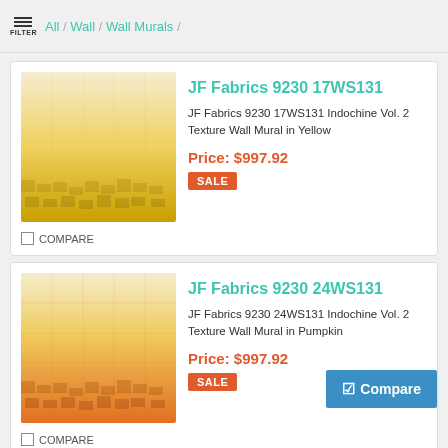FILTER / All / Wall / Wall Murals /
[Figure (photo): Wall mural swatch showing a yellow gradient texture, transitioning from light cream at top to golden yellow at bottom with a subtle grid-like texture.]
JF Fabrics 9230 17WS131
JF Fabrics 9230 17WS131 Indochine Vol. 2 Texture Wall Mural in Yellow
Price: $997.92
SALE
COMPARE
[Figure (photo): Wall mural swatch showing an orange/pumpkin gradient texture, transitioning from light cream/yellow at top to orange at bottom with a subtle grid-like texture.]
JF Fabrics 9230 24WS131
JF Fabrics 9230 24WS131 Indochine Vol. 2 Texture Wall Mural in Pumpkin
Price: $997.92
SALE
COMPARE